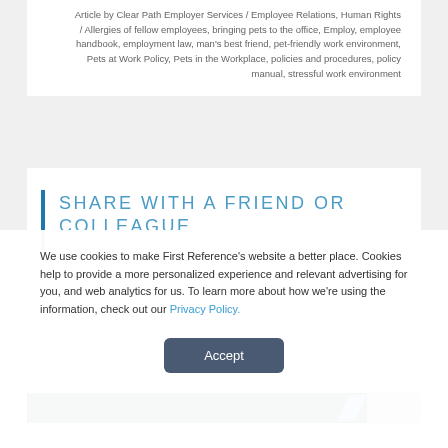Article by Clear Path Employer Services / Employee Relations, Human Rights / Allergies of fellow employees, bringing pets to the office, Employ, employee handbook, employment law, man's best friend, pet-friendly work environment, Pets at Work Policy, Pets in the Workplace, policies and procedures, policy manual, stressful work environment
SHARE WITH A FRIEND OR COLLEAGUE
[Figure (screenshot): Dark navy and blue banner strip at the bottom of the page]
We use cookies to make First Reference's website a better place. Cookies help to provide a more personalized experience and relevant advertising for you, and web analytics for us. To learn more about how we're using the information, check out our Privacy Policy.